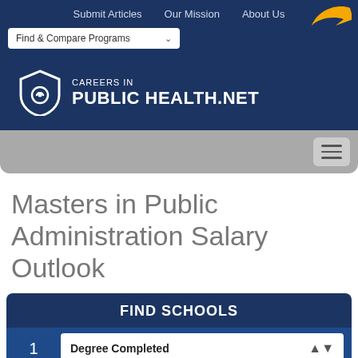Submit Articles   Our Mission   About Us
[Figure (logo): Orange arrow logo pointing left]
Find & Compare Programs
[Figure (logo): Careers in Public Health .net logo with shield icon]
[Figure (infographic): Gray navigation bar with hamburger menu button]
Masters in Public Administration Salary Outlook
FIND SCHOOLS
1   Degree Completed